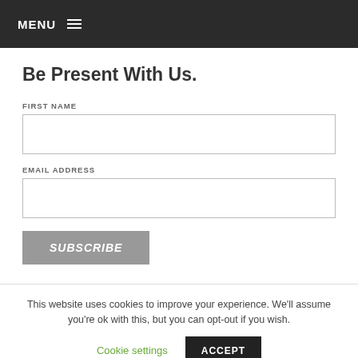MENU
Be Present With Us.
FIRST NAME
EMAIL ADDRESS
SUBSCRIBE
This website uses cookies to improve your experience. We'll assume you're ok with this, but you can opt-out if you wish.
Cookie settings
ACCEPT